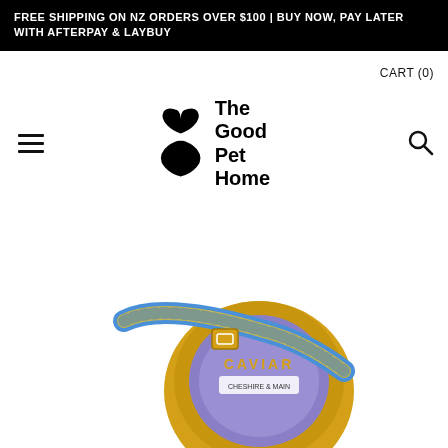FREE SHIPPING ON NZ ORDERS OVER $100 | BUY NOW, PAY LATER WITH AFTERPAY & LAYBUY
CART (0)
[Figure (logo): The Good Pet Home logo — stylized X/bowtie shape with text 'The Good Pet Home']
[Figure (photo): Product photo showing a blue and yellow pet collar with gold buckle alongside a gold circular tin labeled CAVIAR, showing a Cheshire & Main branded product]